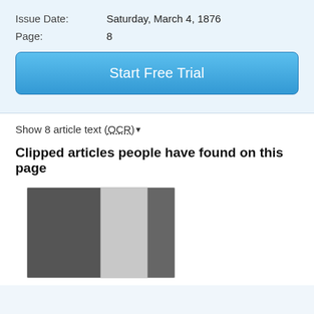Issue Date:    Saturday, March 4, 1876
Page:    8
Start Free Trial
Show 8 article text (OCR) ▾
Clipped articles people have found on this page
[Figure (photo): Thumbnail of a scanned newspaper page from March 4, 1876, showing two columns of dense text in grayscale.]